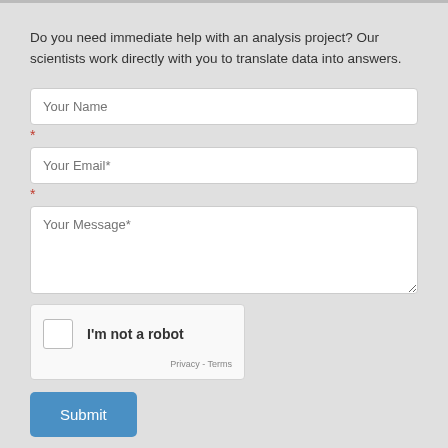Do you need immediate help with an analysis project? Our scientists work directly with you to translate data into answers.
[Figure (screenshot): Web contact form with fields for Your Name, Your Email*, Your Message*, a reCAPTCHA 'I'm not a robot' checkbox, and a Submit button on a light gray background.]